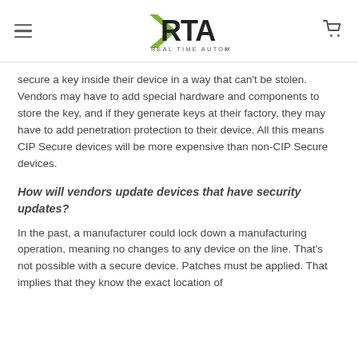RTA Real Time Automation [logo]
secure a key inside their device in a way that can't be stolen. Vendors may have to add special hardware and components to store the key, and if they generate keys at their factory, they may have to add penetration protection to their device. All this means CIP Secure devices will be more expensive than non-CIP Secure devices.
How will vendors update devices that have security updates?
In the past, a manufacturer could lock down a manufacturing operation, meaning no changes to any device on the line. That's not possible with a secure device. Patches must be applied. That implies that they know the exact location of